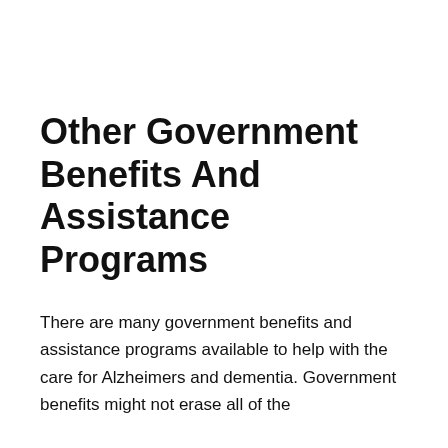Other Government Benefits And Assistance Programs
There are many government benefits and assistance programs available to help with the care for Alzheimers and dementia. Government benefits might not erase all of the